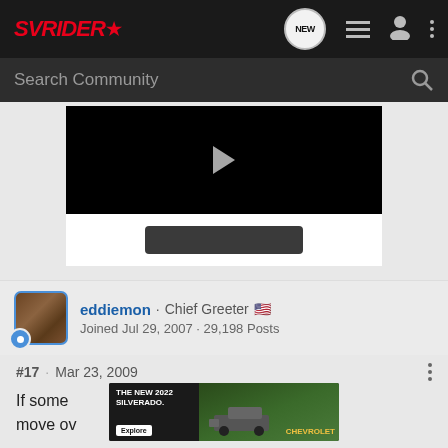SVRIDER* — navigation bar with NEW, list, user, and menu icons
Search Community
[Figure (screenshot): Embedded video player showing black video area with play button triangle, and video controls bar with seek bar below]
eddiemon · Chief Greeter 🇺🇸
Joined Jul 29, 2007 · 29,198 Posts
#17 · Mar 23, 2009
[Figure (photo): Advertisement banner for The New 2022 Silverado by Chevrolet with Explore button]
If some... or move ov...